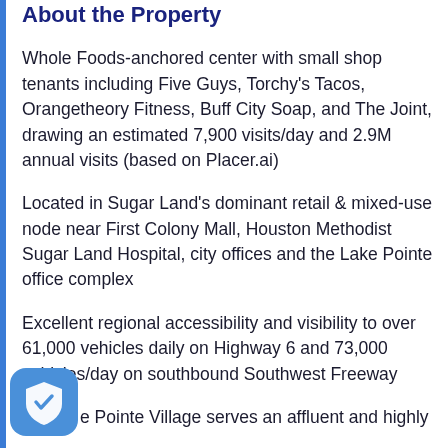About the Property
Whole Foods-anchored center with small shop tenants including Five Guys, Torchy's Tacos, Orangetheory Fitness, Buff City Soap, and The Joint, drawing an estimated 7,900 visits/day and 2.9M annual visits (based on Placer.ai)
Located in Sugar Land's dominant retail & mixed-use node near First Colony Mall, Houston Methodist Sugar Land Hospital, city offices and the Lake Pointe office complex
Excellent regional accessibility and visibility to over 61,000 vehicles daily on Highway 6 and 73,000 vehicles/day on southbound Southwest Freeway
e Pointe Village serves an affluent and highly educated...